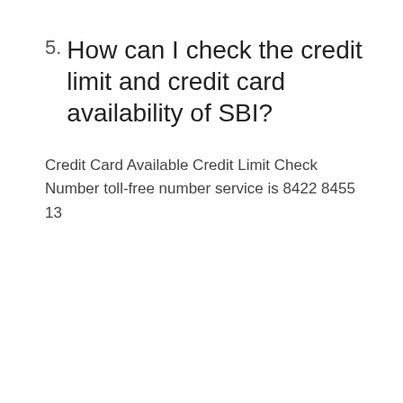5. How can I check the credit limit and credit card availability of SBI?
Credit Card Available Credit Limit Check Number toll-free number service is 8422 8455 13